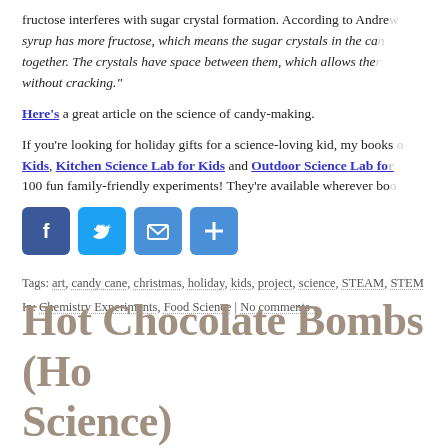fructose interferes with sugar crystal formation. According to Andrew, syrup has more fructose, which means the sugar crystals in the ca... together. The crystals have space between them, which allows the... without cracking."
Here's a great article on the science of candy-making.
If you're looking for holiday gifts for a science-loving kid, my books ... Kids, Kitchen Science Lab for Kids and Outdoor Science Lab fo... 100 fun family-friendly experiments! They're available wherever bo...
[Figure (infographic): Social share buttons: Facebook (blue), Twitter (blue), Email (blue), Share/Plus (blue)]
Tags: art, candy cane, christmas, holiday, kids, project, science, STEAM, STEM
In: Chemistry Experiments, Food Science | No comments »
Hot Chocolate Bombs (Ho... Science)